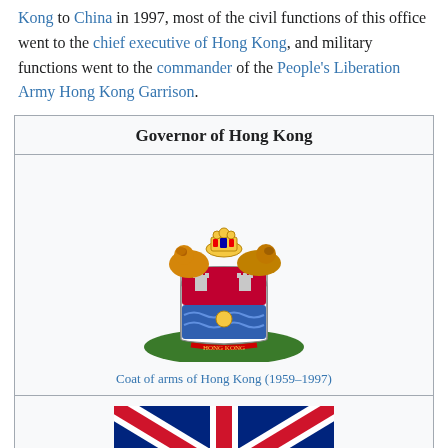Kong to China in 1997, most of the civil functions of this office went to the chief executive of Hong Kong, and military functions went to the commander of the People's Liberation Army Hong Kong Garrison.
| Governor of Hong Kong |
| --- |
| [Coat of arms of Hong Kong (1959–1997)] |
| [Flag of the Governor of Hong Kong (1959–1997)] |
| [Photo] |
Coat of arms of Hong Kong (1959–1997)
Flag of the Governor of Hong Kong (1959–1997)